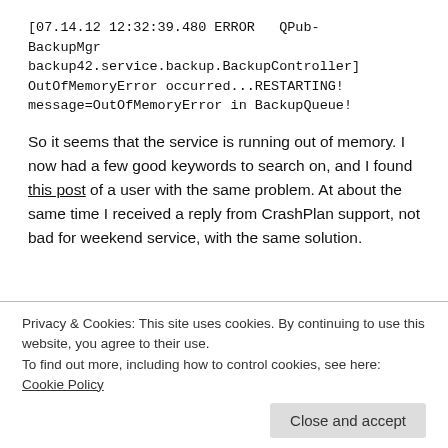[07.14.12 12:32:39.480 ERROR   QPub-BackupMgr backup42.service.backup.BackupController] OutOfMemoryError occurred...RESTARTING! message=OutOfMemoryError in BackupQueue!
So it seems that the service is running out of memory. I now had a few good keywords to search on, and I found this post of a user with the same problem. At about the same time I received a reply from CrashPlan support, not bad for weekend service, with the same solution.
Privacy & Cookies: This site uses cookies. By continuing to use this website, you agree to their use. To find out more, including how to control cookies, see here: Cookie Policy
Close and accept
like jaikuz, that simply fail unless you increase the